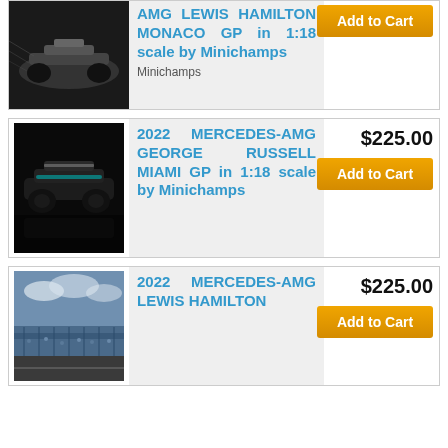[Figure (photo): Partial product listing row 1: Mercedes-AMG Lewis Hamilton Monaco GP 1:18 scale by Minichamps - showing bottom portion with F1 car photo and product title]
2022 MERCEDES-AMG GEORGE RUSSELL MIAMI GP in 1:18 scale by Minichamps
$225.00
Add to Cart
2022 MERCEDES-AMG LEWIS HAMILTON
$225.00
Add to Cart